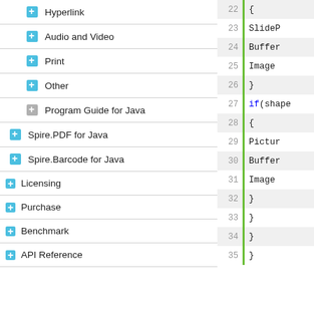Hyperlink
Audio and Video
Print
Other
Program Guide for Java
Spire.PDF for Java
Spire.Barcode for Java
Licensing
Purchase
Benchmark
API Reference
[Figure (screenshot): Code editor showing lines 22-35 with Java code including if(shape) blocks, PictureShape, BufferedImage, ImageIO references, with a green vertical highlight bar. Below is a Windows Explorer window showing navigation toolbar with back button, folder icon, and 'Presen' path text, and a menu bar with File, Edit, View, Tool options.]